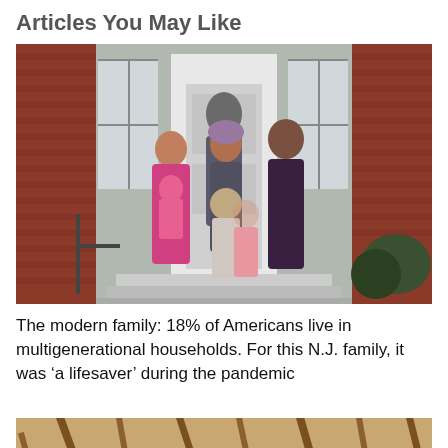Articles You May Like
[Figure (photo): A multigenerational family of 7 people posing together on the front steps of a brick house with white door and columns. Adults and children, including a baby, an elderly woman in a wheelchair, and a young girl.]
The modern family: 18% of Americans live in multigenerational households. For this N.J. family, it was ‘a lifesaver’ during the pandemic
[Figure (photo): Partial view of a wooden structure, partially visible at the bottom of the page.]